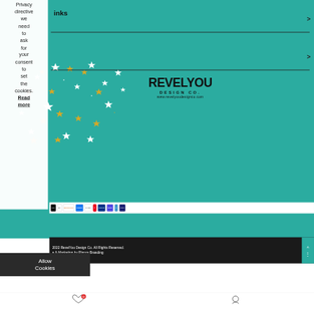Privacy directive we need to ask for your consent to set the cookies. Read more
[Figure (screenshot): RevelYou Design Co. website screenshot showing teal background with stars, logo, payment icons, footer, and cookie consent banner with Allow Cookies button]
2022 RevelYou Design Co. All Rights Reserved. e & Marketing by Planos Branding